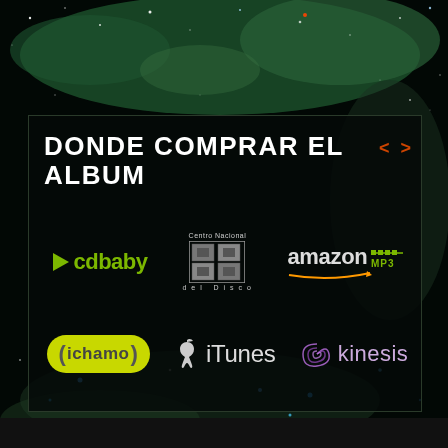[Figure (illustration): Space/nebula background with green and teal colors, stars scattered throughout]
DONDE COMPRAR EL ALBUM
[Figure (logo): Six music retailer logos: CD Baby, Centro Nacional del Disco, Amazon MP3, ichamo, iTunes, Kinesis]